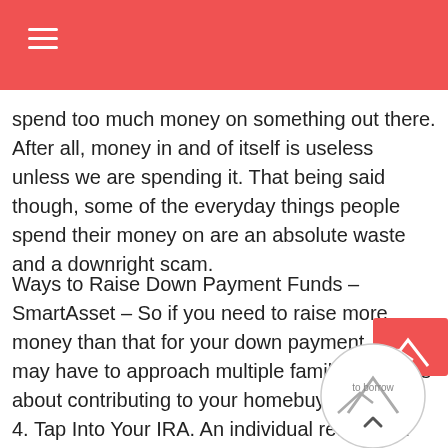spend too much money on something out there. After all, money in and of itself is useless unless we are spending it. That being said though, some of the everyday things people spend their money on are an absolute waste and a downright scam.
Ways to Raise Down Payment Funds – SmartAsset – So if you need to raise more money than that for your down payment, you may have to approach multiple family members about contributing to your homebuying efforts. 4. Tap Into Your IRA. An individual retirement account or IRA is a great resource for building up your retirement nest egg but in a pinch, it can double as your down payment fund.
90 percent ltv home equity loan Mortgage & Home Equity Loans | Honda FCU – Home Equity Loans. Use your home equity to borrow money for home improvements, college tuition, debt consolidation and other financial goals. A home equity line of credit can also be used for